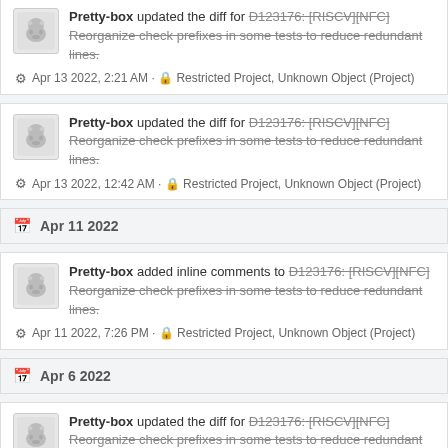Pretty-box updated the diff for D123176: [RISCV][NFC] Reorganize check prefixes in some tests to reduce redundant lines.
Apr 13 2022, 2:21 AM · Restricted Project, Unknown Object (Project)
Pretty-box updated the diff for D123176: [RISCV][NFC] Reorganize check prefixes in some tests to reduce redundant lines.
Apr 13 2022, 12:42 AM · Restricted Project, Unknown Object (Project)
Apr 11 2022
Pretty-box added inline comments to D123176: [RISCV][NFC] Reorganize check prefixes in some tests to reduce redundant lines.
Apr 11 2022, 7:26 PM · Restricted Project, Unknown Object (Project)
Apr 6 2022
Pretty-box updated the diff for D123176: [RISCV][NFC] Reorganize check prefixes in some tests to reduce redundant lines.